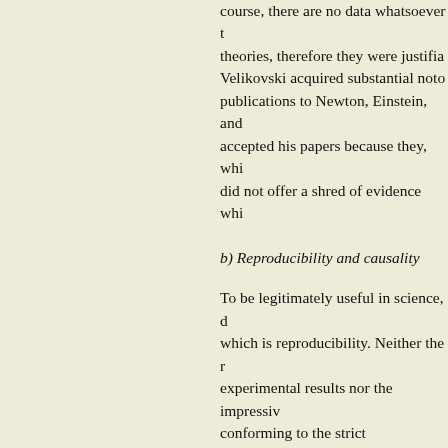course, there are no data whatsoever to support his theories, therefore they were justifiable. Velikovski acquired substantial notoriety by comparing his publications to Newton, Einstein, and Darwin. No journal accepted his papers because they, while making bold claims, did not offer a shred of evidence whic...
b) Reproducibility and causality
To be legitimately useful in science, d... which is reproducibility. Neither the remarkable experimental results nor the impressive conforming to the strict requirements sufficient for the data to be accepted a... of science only after they have been re... demise of the cold fusion (at least as i... that other groups of researchers could not reproduce Fleischman and Jones. Likewise, the o... reproduced by other scientists, which by the scientific community.
The requirement of reproducibility is universal law of nature. This assumpti... experimental conditions must necessa... experiment. This supposition is of cou... priori. This principle has an ancient o... Aristotle who introduced the concep...